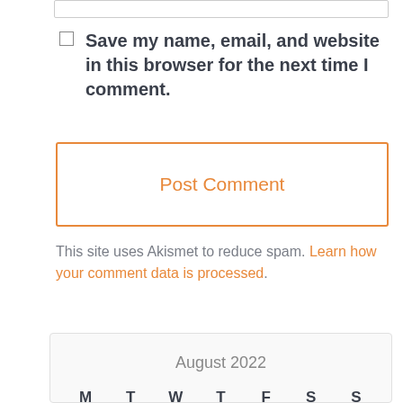Save my name, email, and website in this browser for the next time I comment.
Post Comment
This site uses Akismet to reduce spam. Learn how your comment data is processed.
| M | T | W | T | F | S | S |
| --- | --- | --- | --- | --- | --- | --- |